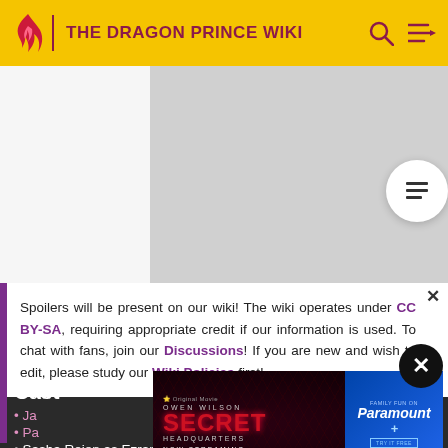THE DRAGON PRINCE WIKI
[Figure (screenshot): Gray placeholder image area below the header]
Spoilers will be present on our wiki! The wiki operates under CC BY-SA, requiring appropriate credit if our information is used. To chat with fans, join our Discussions! If you are new and wish to edit, please study our Wiki Policies first!
Cast
Ja... (truncated, pink link)
Pa... (truncated, pink link)
Sasha Rojen as Ezran
[Figure (screenshot): Advertisement: Owen Wilson Secret Headquarters Now Streaming, Paramount+ Original Movie]